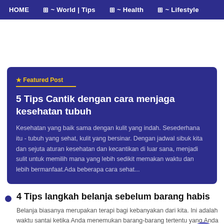HOME  ~ World | Tips  ~ Health  ~ Lifestyle
★ Featured Post
5 Tips Cantik dengan cara menjaga kesehatan tubuh
Kesehatan yang baik sama dengan kulit yang indah. Sesederhana itu - tubuh yang sehat, kulit yang bersinar. Dengan jadwal sibuk kita dan sejuta aturan kesehatan dan kecantikan di luar sana, menjadi sulit untuk memilih mana yang lebih sedikit memakan waktu dan lebih bermanfaat.Ada beberapa cara sehat...
4 Tips langkah belanja sebelum barang habis
Belanja biasanya merupakan terapi bagi kebanyakan dari kita. Ini adalah waktu santai ketika Anda menemukan barang-barang tertentu yang Anda cari menunggu di rak untuk Anda datang dan mengambilnya. Di